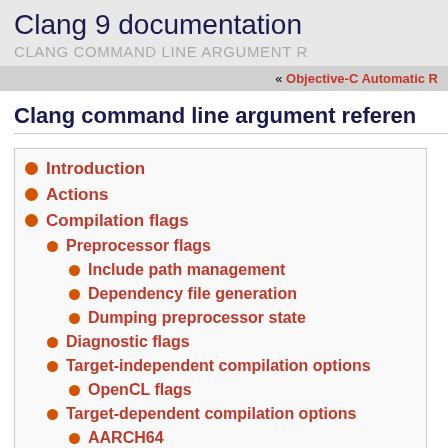Clang 9 documentation
CLANG COMMAND LINE ARGUMENT R
« Objective-C Automatic R
Clang command line argument referen
Introduction
Actions
Compilation flags
Preprocessor flags
Include path management
Dependency file generation
Dumping preprocessor state
Diagnostic flags
Target-independent compilation options
OpenCL flags
Target-dependent compilation options
AARCH64